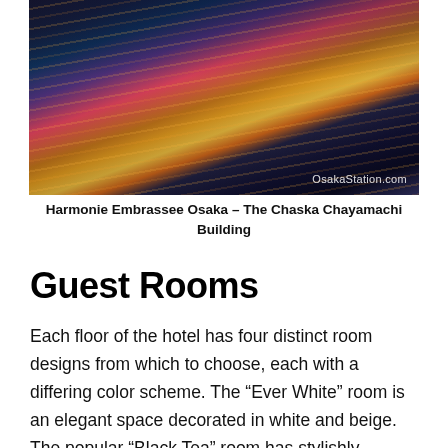[Figure (photo): Aerial night photograph of Osaka city, showing light trails from traffic on highways, with a large illuminated building on the left. Watermark reads 'OsakaStation.com' in the lower right corner.]
Harmonie Embrassee Osaka – The Chaska Chayamachi Building
Guest Rooms
Each floor of the hotel has four distinct room designs from which to choose, each with a differing color scheme. The “Ever White” room is an elegant space decorated in white and beige. The popular “Black Tea” room has stylishly modern black, white and silver decor. The “Dolce Vita” is a luxurious room